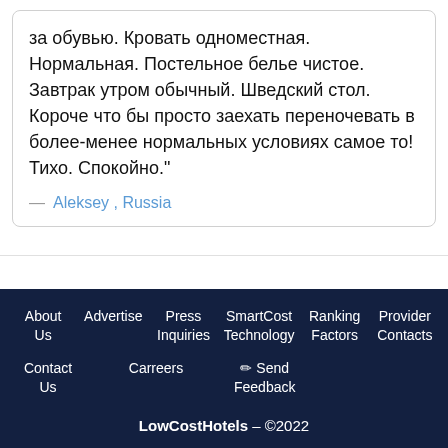за обувью. Кровать одноместная. Нормальная. Постельное белье чистое. Завтрак утром обычный. Шведский стол. Короче что бы просто заехать переночевать в более-менее нормальных условиях самое то! Тихо. Спокойно."
— Aleksey , Russia
About Us | Advertise | Press Inquiries | SmartCost Technology | Ranking Factors | Provider Contacts | Contact Us | Carreers | ✏ Send Feedback | LowCostHotels – ©2022